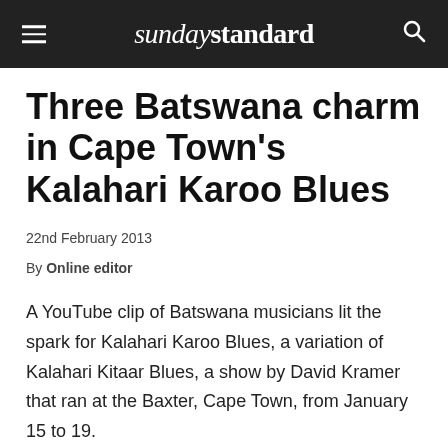sunday standard
Three Batswana charm in Cape Town's Kalahari Karoo Blues
22nd February 2013
By Online editor
A YouTube clip of Batswana musicians lit the spark for Kalahari Karoo Blues, a variation of Kalahari Kitaar Blues, a show by David Kramer that ran at the Baxter, Cape Town, from January 15 to 19.